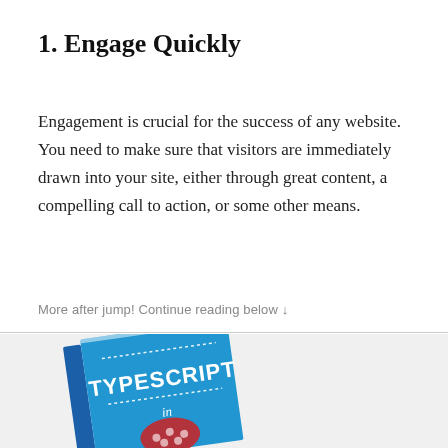1. Engage Quickly
Engagement is crucial for the success of any website. You need to make sure that visitors are immediately drawn into your site, either through great content, a compelling call to action, or some other means.
More after jump! Continue reading below ↓
[Figure (photo): A blue book cover with the title TYPESCRIPT in white text, shown at a slight angle against a light gray background. The book cover is partially visible.]